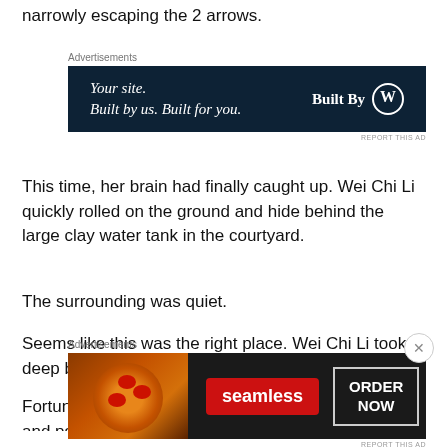narrowly escaping the 2 arrows.
[Figure (other): Advertisement banner: dark navy background with italic serif text 'Your site. Built by us. Built for you.' and 'Built By W' with WordPress circle logo on the right]
This time, her brain had finally caught up. Wei Chi Li quickly rolled on the ground and hide behind the large clay water tank in the courtyard.
The surrounding was quiet.
Seems like this was the right place. Wei Chi Li took a deep breath to calm her pounding heart.
Fortunately, she has extremely high adaptability and psychological qualities in her previous life. Now, even i
[Figure (other): Advertisement banner: Seamless food delivery ad with pizza image on left, red 'seamless' label, and 'ORDER NOW' button on dark background]